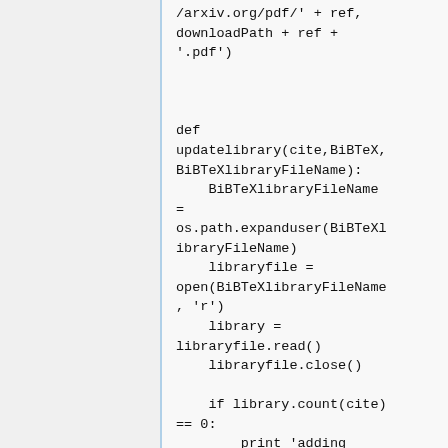[Figure (screenshot): Code snippet showing Python code. Top portion shows continuation of a urllib urlretrieve call with downloadPath + ref + '.pdf'. Then a function definition: def updatelibrary(cite, BiBTeX, BiBTeXlibraryFileName): with body expanding the path, opening the library file, reading it, closing it, and checking if library.count(cite) == 0: then print 'adding BiBTeX entry to ' + BiBTeXlibraryFileName]